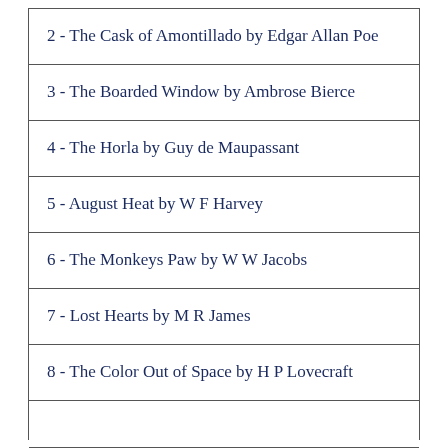2 - The Cask of Amontillado by Edgar Allan Poe
3 - The Boarded Window by Ambrose Bierce
4 - The Horla by Guy de Maupassant
5 - August Heat by W F Harvey
6 - The Monkeys Paw by W W Jacobs
7 - Lost Hearts by M R James
8 - The Color Out of Space by H P Lovecraft